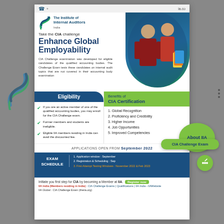[Figure (logo): The Institute of Internal Auditors India logo with teal layered design]
Take the CIA challenge
Enhance Global Employability
CIA Challenge examination was developed for eligible candidates of the qualified accounting bodies. The Challenge Exam tests these candidates on internal audit topics that are not covered in their accounting body examination
[Figure (photo): Two students, a man and a woman, standing together with books]
Eligibility
Benefits of CIA Certification
If you are an active member of one of the qualified accounting bodies, you may enroll for the CIA Challenge exam.
Former members and students are ineligible.
Eligible IIA members residing in India can avail the discounted fee.
1. Global Recognition
2. Proficiency and Credibility
3. Higher Income
4. Job Opportunities
5. Improved Competencies
APPLICATIONS OPEN FROM September 2022
EXAM SCHEDULE
1. Application window : September
2. Registration & Scheduling : Sep
3. First Attempt Testing Windows : November 2022 & Feb 2023
Initiate you first step for CIA by becoming a Member at IIA.
IIA India (Members residing in India) : CIA Challenge Exams | Qualifications | IIA India - IIAWebsite
IIA Global : CIA Challenge Exam (theiia.org)
About IIA
CIA Challenge Exam